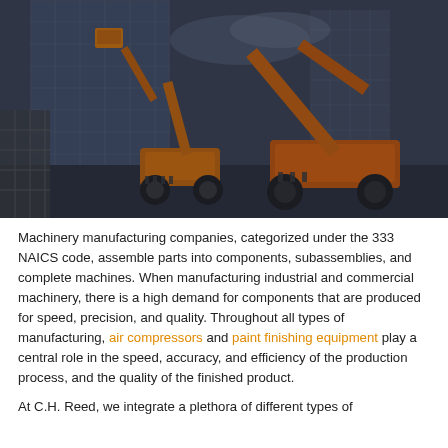[Figure (photo): Two orange boom lift / aerial work platform machines at a construction site with a large glass building in the background. The image has a dark, desaturated blue-grey tone with the machines in vivid orange.]
Machinery manufacturing companies, categorized under the 333 NAICS code, assemble parts into components, subassemblies, and complete machines. When manufacturing industrial and commercial machinery, there is a high demand for components that are produced for speed, precision, and quality. Throughout all types of manufacturing, air compressors and paint finishing equipment play a central role in the speed, accuracy, and efficiency of the production process, and the quality of the finished product.
At C.H. Reed, we integrate a plethora of different types of